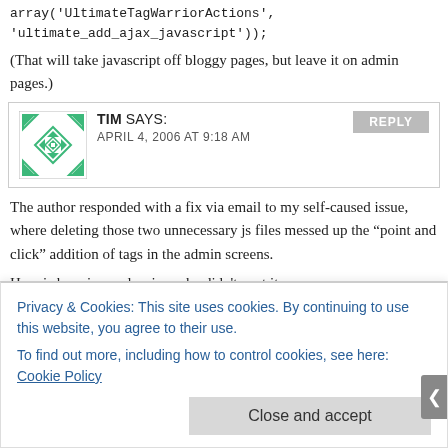array('UltimateTagWarriorActions', 'ultimate_add_ajax_javascript'));
(That will take javascript off bloggy pages, but leave it on admin pages.)
TIM SAYS: APRIL 4, 2006 AT 9:18 AM
The author responded with a fix via email to my self-caused issue, where deleting those two unnecessary js files messed up the “point and click” addition of tags in the admin screens.
Here is her nice reply, since she didn't post it:
— — — — — — — — —
Privacy & Cookies: This site uses cookies. By continuing to use this website, you agree to their use.
To find out more, including how to control cookies, see here: Cookie Policy
Close and accept